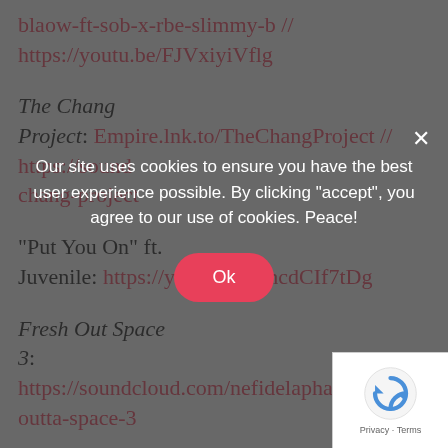blaow-ft-sob-x-rbe-slimmy-b // https://youtu.be/FJVxiyiVflg
The Chang Project: Empire.lnk.to/TheChangProject // https://soundcloud.com/…/chang-project
“Put You On” ft. Juvenile: https://youtu.be/RmcdCIf7tDg
Fresh Out Space 3: https://soundcloud.com/nefidelaphante/sets/fresh-outta-space-3
Neffy Got Wings: https://soundcloud.com/nefidelaphante/sets/n…
Our site uses cookies to ensure you have the best user experience possible. By clicking “accept”, you agree to our use of cookies. Peace!